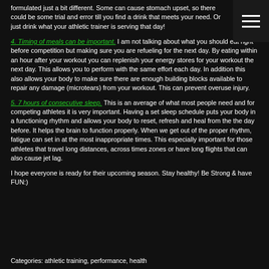formulated just a bit different. Some can cause stomach upset, so there could be some trial and error till you find a drink that meets your need. Or just drink what your athletic trainer is serving that day!
4. Timing of meals can be important. I am not talking about what you should eat right before competition but making sure you are refueling for the next day. By eating within an hour after your workout you can replenish your energy stores for your workout the next day. This allows you to perform with the same effort each day. In addition this also allows your body to make sure there are enough building blocks available to repair any damage (microtears) from your workout. This can prevent overuse injury.
5. 7 hours of consecutive sleep. This is an average of what most people need and for competing athletes it is very important. Having a set sleep schedule puts your body in a functioning rhythm and allows your body to reset, refresh and heal from the the day before. It helps the brain to function properly. When we get out of the proper rhythm, fatigue can set in at the most inappropriate times. This especially important for those athletes that travel long distances, across times zones or have long flights that can also cause jet lag.
I hope everyone is ready for their upcoming season. Stay healthy! Be Strong & have FUN:)
Categories: athletic training, performance, health